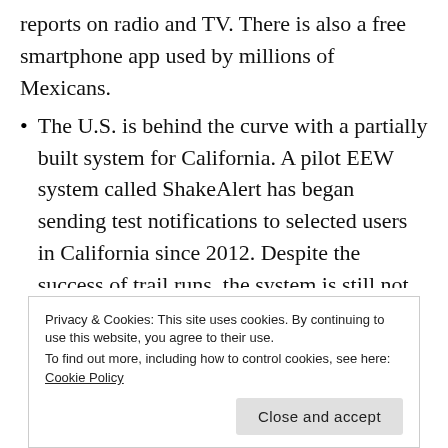reports on radio and TV. There is also a free smartphone app used by millions of Mexicans.
The U.S. is behind the curve with a partially built system for California. A pilot EEW system called ShakeAlert has began sending test notifications to selected users in California since 2012. Despite the success of trail runs, the system is still not available to the wide public. The program costs $16 million to build and operate per year, but the USGS has only been given $10 million each year. Worse, it is being eliminated in the...
Privacy & Cookies: This site uses cookies. By continuing to use this website, you agree to their use.
To find out more, including how to control cookies, see here: Cookie Policy
Close and accept